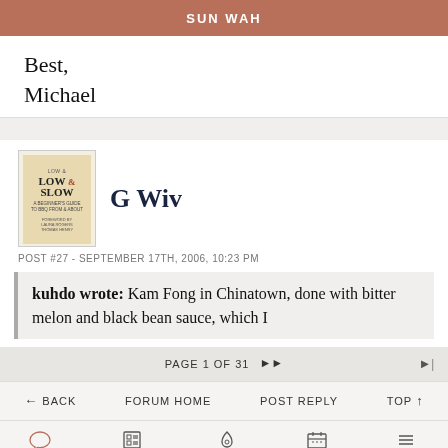SUN WAH
Best,
Michael
G Wiv
POST #27 - SEPTEMBER 17TH, 2006, 10:23 PM
kuhdo wrote:  Kam Fong in Chinatown, done with bitter melon and black bean sauce, which I
PAGE 1 OF 31
← BACK   FORUM HOME   POST REPLY   TOP ↑
CHAT   ARTICLES   GUIDE   EVENTS   MORE